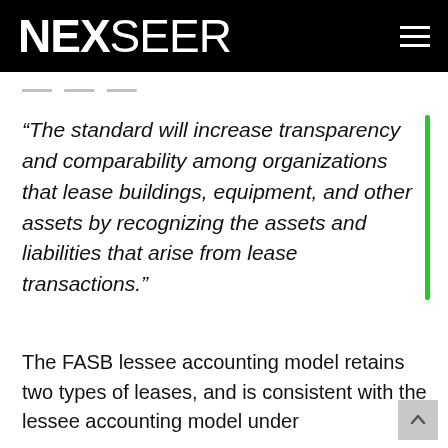NEXSEER
“The standard will increase transparency and comparability among organizations that lease buildings, equipment, and other assets by recognizing the assets and liabilities that arise from lease transactions.”
The FASB lessee accounting model retains two types of leases, and is consistent with the lessee accounting model under